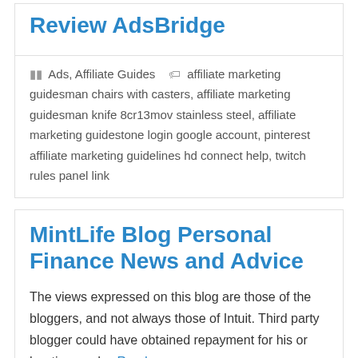Review AdsBridge
Ads, Affiliate Guides   affiliate marketing guidesman chairs with casters, affiliate marketing guidesman knife 8cr13mov stainless steel, affiliate marketing guidestone login google account, pinterest affiliate marketing guidelines hd connect help, twitch rules panel link
MintLife Blog Personal Finance News and Advice
The views expressed on this blog are those of the bloggers, and not always those of Intuit. Third party blogger could have obtained repayment for his or her time and... Read more »